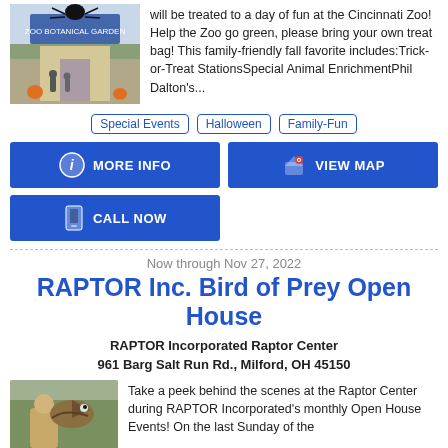[Figure (photo): Zoo entrance with large spider decoration and visitors]
will be treated to a day of fun at the Cincinnati Zoo! Help the Zoo go green, please bring your own treat bag! This family-friendly fall favorite includes:Trick-or-Treat StationsSpecial Animal EnrichmentPhil Dalton's...
Special Events
Halloween
Family-Fun
MORE INFO
VIEW MAP
CALL NOW
Now through Nov 27, 2022
RAPTOR Inc. Bird of Prey Open House
RAPTOR Incorporated Raptor Center
961 Barg Salt Run Rd., Milford, OH 45150
[Figure (photo): Man with bird of prey at the Raptor Center]
Take a peek behind the scenes at the Raptor Center during RAPTOR Incorporated's monthly Open House Events! On the last Sunday of the